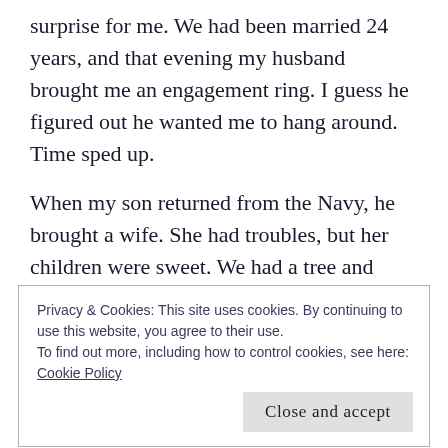surprise for me. We had been married 24 years, and that evening my husband brought me an engagement ring. I guess he figured out he wanted me to hang around. Time sped up.
When my son returned from the Navy, he brought a wife. She had troubles, but her children were sweet. We had a tree and took the kids to all of the places children should go when they visit a grandparent. It was only for that one Christmas, but we were exhausted at the end. I lost ten pounds that holiday. It
Privacy & Cookies: This site uses cookies. By continuing to use this website, you agree to their use.
To find out more, including how to control cookies, see here:
Cookie Policy
Close and accept
the bottom and it had two ornaments, one from